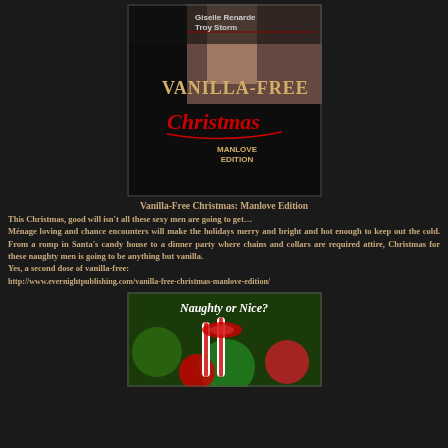[Figure (illustration): Book cover for 'Vanilla-Free Christmas: Manlove Edition' featuring authors Giselle Renarde and Troy Storm. Dark background with stylized text and red script Christmas lettering.]
Vanilla-Free Christmas: Manlove Edition
This Christmas, good will isn't all these sexy men are going to get… Ménage loving and chance encounters will make the holidays merry and bright and hot enough to keep out the cold. From a romp in Santa's candy house to a dinner party where chains and collars are required attire, Christmas for these naughty men is going to be anything but vanilla.
Yes, a second dose of vanilla-free:
http://www.evernightpublishing.com/vanilla-free-christmas-manlove-edition/
[Figure (illustration): Book or promotional cover image reading 'Naughty or Nice?' with Christmas candy canes and ornaments on a festive background.]